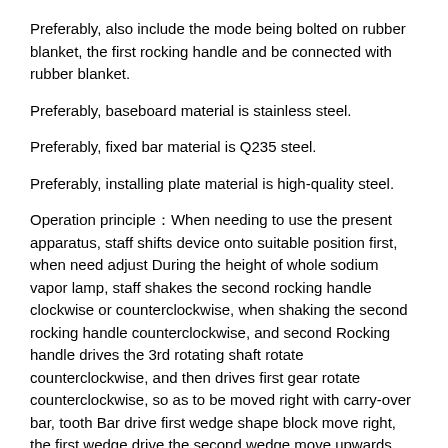Preferably, also include the mode being bolted on rubber blanket, the first rocking handle and be connected with rubber blanket.
Preferably, baseboard material is stainless steel.
Preferably, fixed bar material is Q235 steel.
Preferably, installing plate material is high-quality steel.
Operation principleÿWhen needing to use the present apparatus, staff shifts device onto suitable position first, when need adjust During the height of whole sodium vapor lamp, staff shakes the second rocking handle clockwise or counterclockwise, when shaking the second rocking handle counterclockwise, and second Rocking handle drives the 3rd rotating shaft rotate counterclockwise, and then drives first gear rotate counterclockwise, so as to be moved right with carry-over bar, tooth Bar drive first wedge shape block move right, the first wedge drive the second wedge move upwards, and then drive the 3rd sliding block to Upper motion, so as to drive connecting rod to move upwards, connecting rod drives installing plate and device